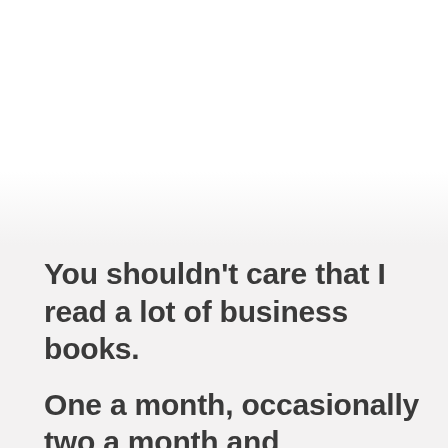You shouldn't care that I read a lot of business books.
One a month, occasionally two a month and sometimes more.
But you should know that I